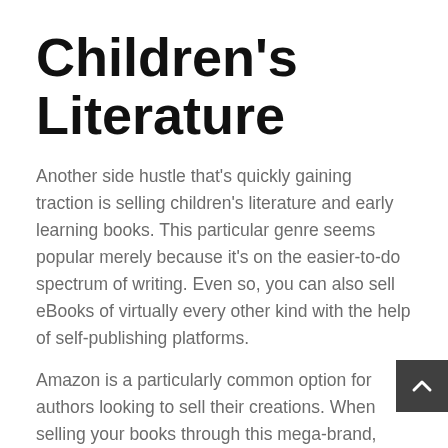Children's Literature
Another side hustle that's quickly gaining traction is selling children's literature and early learning books. This particular genre seems popular merely because it's on the easier-to-do spectrum of writing. Even so, you can also sell eBooks of virtually every other kind with the help of self-publishing platforms.
Amazon is a particularly common option for authors looking to sell their creations. When selling your books through this mega-brand, you'll maintain ownership of your work, and you can also upload your book in a few minutes.